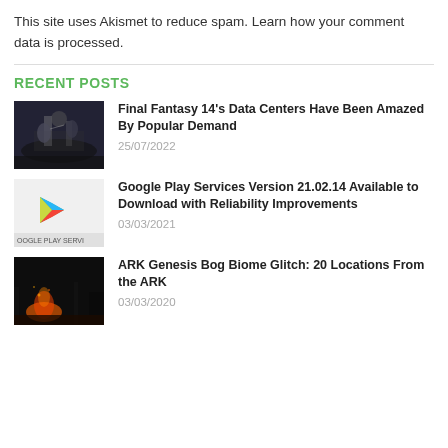This site uses Akismet to reduce spam. Learn how your comment data is processed.
RECENT POSTS
[Figure (photo): Dark fantasy game scene with characters, Final Fantasy 14 thumbnail]
Final Fantasy 14’s Data Centers Have Been Amazed By Popular Demand
25/07/2022
[Figure (logo): Google Play Services logo on light gray background with text OOGLE PLAY SERVI]
Google Play Services Version 21.02.14 Available to Download with Reliability Improvements
03/03/2021
[Figure (photo): ARK Genesis dark scene with fire, game screenshot thumbnail]
ARK Genesis Bog Biome Glitch: 20 Locations From the ARK
03/03/2020